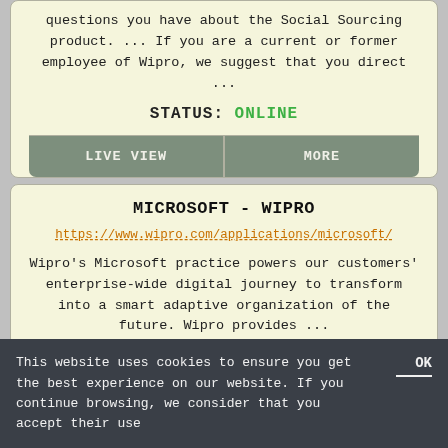questions you have about the Social Sourcing product. ... If you are a current or former employee of Wipro, we suggest that you direct ...
STATUS: ONLINE
LIVE VIEW
MORE
MICROSOFT - WIPRO
https://www.wipro.com/applications/microsoft/
Wipro's Microsoft practice powers our customers' enterprise-wide digital journey to transform into a smart adaptive organization of the future. Wipro provides ...
This website uses cookies to ensure you get the best experience on our website. If you continue browsing, we consider that you accept their use
OK